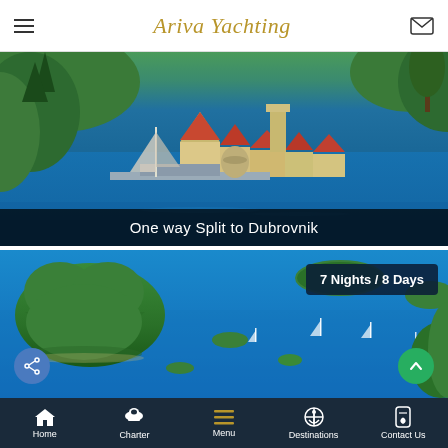Ariva Yachting
[Figure (photo): Aerial view of a Croatian coastal town (likely Korčula) with red-roofed buildings, a harbor with a sailing yacht, surrounded by blue Adriatic waters and green hills]
One way Split to Dubrovnik
[Figure (photo): Aerial view of heart-shaped green islands and smaller islets in the crystal-blue Adriatic Sea with several sailboats visible, badge reading '7 Nights / 8 Days']
Home   Charter   Menu   Destinations   Contact Us